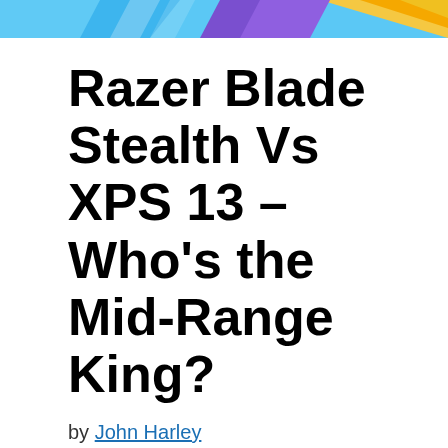[Figure (illustration): Colorful banner image with blue, yellow/orange, and purple gradient rays on white background]
Razer Blade Stealth Vs XPS 13 – Who's the Mid-Range King?
by John Harley
When the bet is about a midrange laptop, hardly will you find the